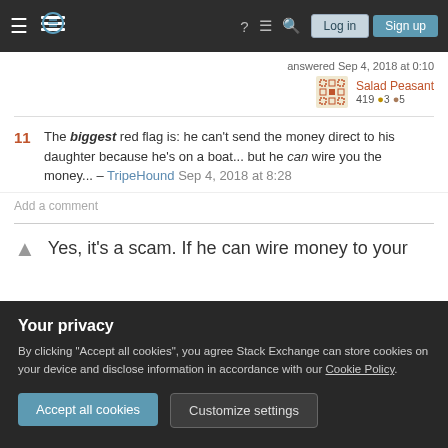Stack Exchange navigation header with Log in and Sign up buttons
answered Sep 4, 2018 at 0:10
Salad Peasant 419 ●3 ●5
11 The biggest red flag is: he can't send the money direct to his daughter because he's on a boat... but he can wire you the money... – TripeHound Sep 4, 2018 at 8:28
Add a comment
Yes, it's a scam. If he can wire money to your
Your privacy
By clicking "Accept all cookies", you agree Stack Exchange can store cookies on your device and disclose information in accordance with our Cookie Policy.
Accept all cookies
Customize settings